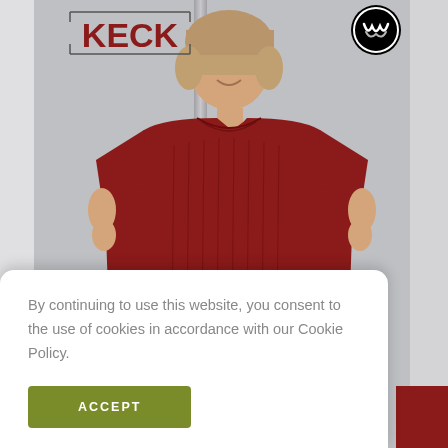[Figure (photo): Woman wearing a dark red/maroon crochet knit short-sleeve sweater top, smiling, with hands on hips, posed in front of a light gray background with a vertical pole/rack. Text 'KECK' in dark red with decorative bracket lines appears top left. A circular logo appears top right.]
By continuing to use this website, you consent to the use of cookies in accordance with our Cookie Policy.
ACCEPT